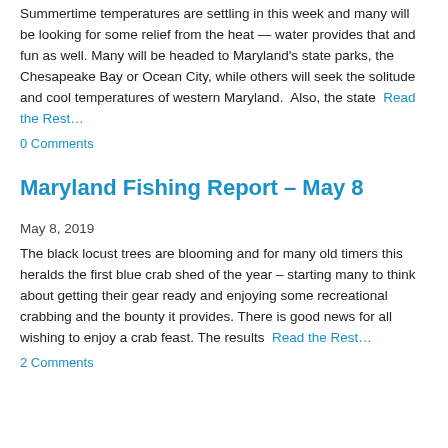Summertime temperatures are settling in this week and many will be looking for some relief from the heat — water provides that and fun as well. Many will be headed to Maryland's state parks, the Chesapeake Bay or Ocean City, while others will seek the solitude and cool temperatures of western Maryland.  Also, the state  Read the Rest…
0 Comments
Maryland Fishing Report – May 8
May 8, 2019
The black locust trees are blooming and for many old timers this heralds the first blue crab shed of the year – starting many to think about getting their gear ready and enjoying some recreational crabbing and the bounty it provides. There is good news for all wishing to enjoy a crab feast. The results  Read the Rest…
2 Comments